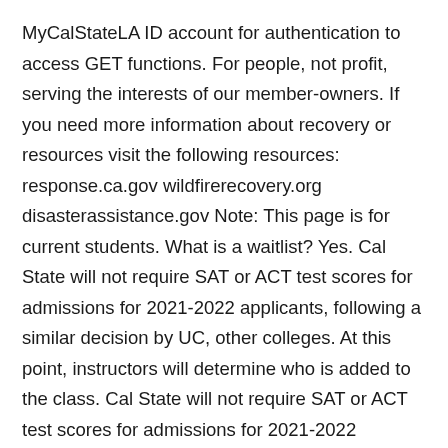MyCalStateLA ID account for authentication to access GET functions. For people, not profit, serving the interests of our member-owners. If you need more information about recovery or resources visit the following resources: response.ca.gov wildfirerecovery.org disasterassistance.gov Note: This page is for current students. What is a waitlist? Yes. Cal State will not require SAT or ACT test scores for admissions for 2021-2022 applicants, following a similar decision by UC, other colleges. At this point, instructors will determine who is added to the class. Cal State will not require SAT or ACT test scores for admissions for 2021-2022 applicants, following a similar decision by UC, other colleges. Rigorous preparation is key to academic success at Cal State LA. First time here? • Events from Gmail - Flight, hotel, concert, restaurant reservations and